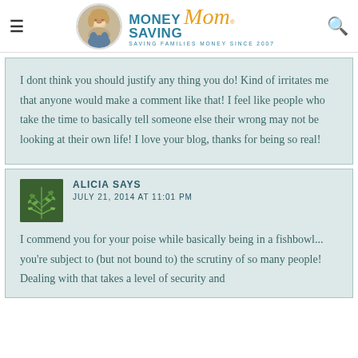Money Saving Mom® - Saving Families Money Since 2007
I dont think you should justify any thing you do! Kind of irritates me that anyone would make a comment like that! I feel like people who take the time to basically tell someone else their wrong may not be looking at their own life! I love your blog, thanks for being so real!
ALICIA SAYS
JULY 21, 2014 AT 11:01 PM
I commend you for your poise while basically being in a fishbowl... you're subject to (but not bound to) the scrutiny of so many people! Dealing with that takes a level of security and